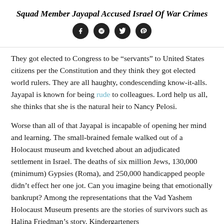Squad Member Jayapal Accused Israel Of War Crimes
[Figure (other): Social media share icons: Facebook, Google+, Twitter, Pinterest]
They got elected to Congress to be “servants” to United States citizens per the Constitution and they think they got elected world rulers. They are all haughty, condescending know-it-alls. Jayapal is known for being rude to colleagues. Lord help us all, she thinks that she is the natural heir to Nancy Pelosi.
Worse than all of that Jayapal is incapable of opening her mind and learning. The small-brained female walked out of a Holocaust museum and kvetched about an adjudicated settlement in Israel. The deaths of six million Jews, 130,000 (minimum) Gypsies (Roma), and 250,000 handicapped people didn’t effect her one jot. Can you imagine being that emotionally bankrupt? Among the representations that the Vad Yashem Holocaust Museum presents are the stories of survivors such as Halina Friedman’s story. Kindergarteners